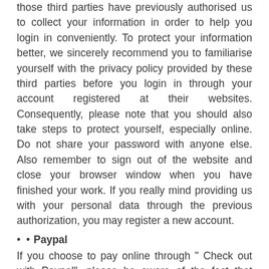those third parties have previously authorised us to collect your information in order to help you login in conveniently. To protect your information better, we sincerely recommend you to familiarise yourself with the privacy policy provided by these third parties before you login in through your account registered at their websites. Consequently, please note that you should also take steps to protect yourself, especially online. Do not share your password with anyone else. Also remember to sign out of the website and close your browser window when you have finished your work. If you really mind providing us with your personal data through the previous authorization, you may register a new account.
Paypal
If you choose to pay online through " Check out with Paypal", please be aware of the fact that once you click the button, you will be link to the website of Paypal. The personal data that you are asked to provide, including your card number, your billing address and your contact information, will be collected and processed by Paypal instead of this store, though our trademark/logo can still be seen on